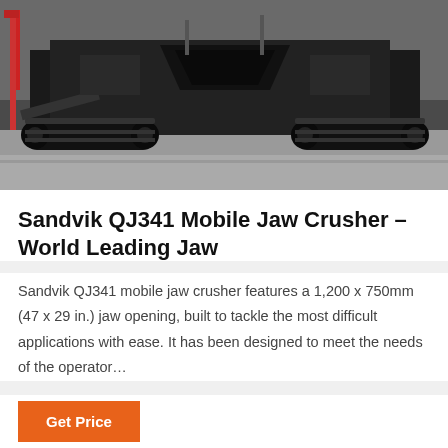[Figure (photo): Black and white photo of a large Sandvik QJ341 mobile jaw crusher machine on a concrete surface, showing the tracked undercarriage and main crushing unit]
Sandvik QJ341 Mobile Jaw Crusher – World Leading Jaw
Sandvik QJ341 mobile jaw crusher features a 1,200 x 750mm (47 x 29 in.) jaw opening, built to tackle the most difficult applications with ease. It has been designed to meet the needs of the operator…
[Figure (photo): Photo of modern office or commercial buildings with glass windows and white facade]
Leave Message  Chat Online